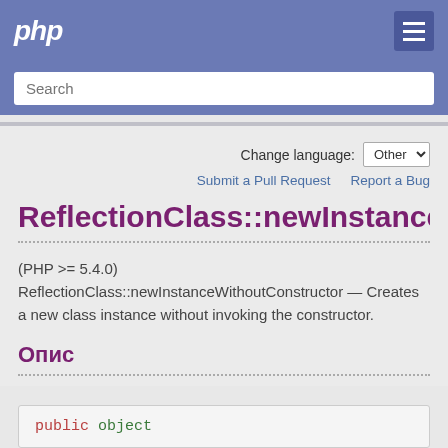php
Search
Change language: Other
Submit a Pull Request   Report a Bug
ReflectionClass::newInstanceWi
(PHP >= 5.4.0)
ReflectionClass::newInstanceWithoutConstructor — Creates a new class instance without invoking the constructor.
Опис
public object